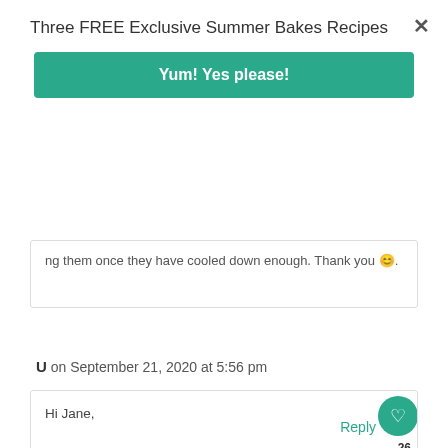Three FREE Exclusive Summer Bakes Recipes
Yum! Yes please!
ng them once they have cooled down enough. Thank you 😊.
Reply
U on September 21, 2020 at 5:56 pm
Hi Jane,
When you say beat, what attachment do you mean I should u e? the whisk attachment? – or the one normally used for mak g cookies?
Reply